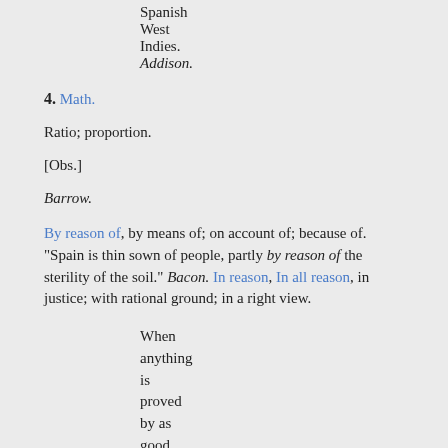Spanish West Indies. Addison.
4. Math.
Ratio; proportion.
[Obs.]
Barrow.
By reason of, by means of; on account of; because of. "Spain is thin sown of people, partly by reason of the sterility of the soil." Bacon. In reason, In all reason, in justice; with rational ground; in a right view.
When anything is proved by as good arguments as a thing